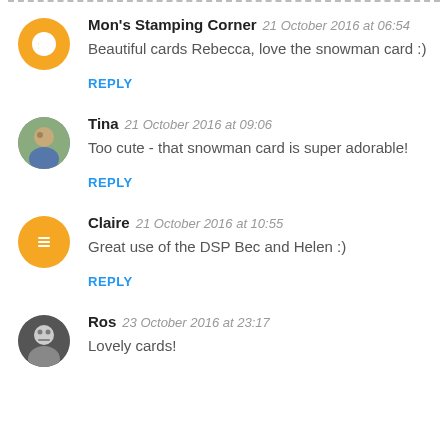Mon's Stamping Corner  21 October 2016 at 06:54
Beautiful cards Rebecca, love the snowman card :)
REPLY
Tina  21 October 2016 at 09:06
Too cute - that snowman card is super adorable!
REPLY
Claire  21 October 2016 at 10:55
Great use of the DSP Bec and Helen :)
REPLY
Ros  23 October 2016 at 23:17
Lovely cards!